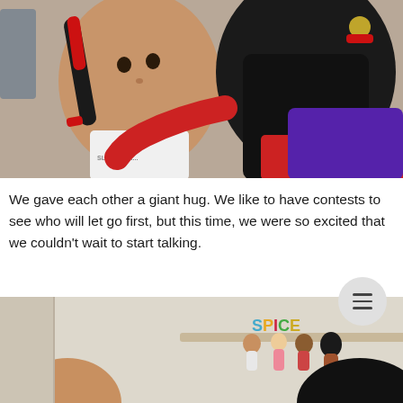[Figure (photo): Two dolls with dark hair hugging each other. The left doll faces forward with braids tied with red ribbons; the right doll faces away wearing a red top and purple backpack. A white shirt with 'SLEATER-K...' text is visible on the left doll.]
We gave each other a giant hug. We like to have contests to see who will let go first, but this time, we were so excited that we couldn't wait to start talking.
[Figure (photo): A room shelf displaying a 'SPICE' sign with several small dolls arranged beneath it. A child's head is partially visible in the foreground lower left, and dark hair of another person is visible at the lower right.]